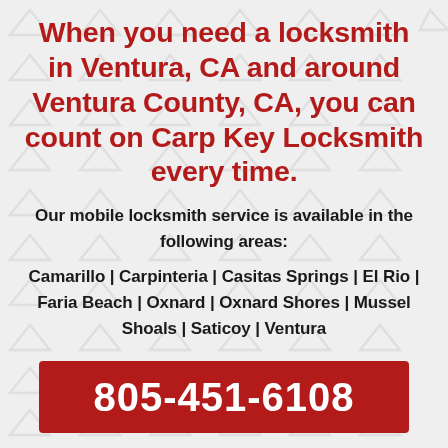When you need a locksmith in Ventura, CA and around Ventura County, CA, you can count on Carp Key Locksmith every time.
Our mobile locksmith service is available in the following areas:
Camarillo | Carpinteria | Casitas Springs | El Rio | Faria Beach | Oxnard | Oxnard Shores | Mussel Shoals | Saticoy | Ventura
805-451-6108